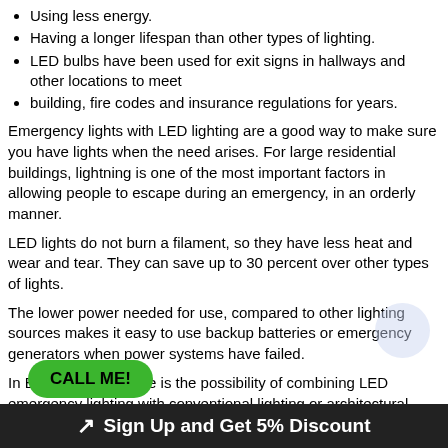Using less energy.
Having a longer lifespan than other types of lighting.
LED bulbs have been used for exit signs in hallways and other locations to meet
building, fire codes and insurance regulations for years.
Emergency lights with LED lighting are a good way to make sure you have lights when the need arises. For large residential buildings, lightning is one of the most important factors in allowing people to escape during an emergency, in an orderly manner.
LED lights do not burn a filament, so they have less heat and wear and tear. They can save up to 30 percent over other types of lights.
The lower power needed for use, compared to other lighting sources makes it easy to use backup batteries or emergency generators when power systems have failed.
In BIG buildings, there is the possibility of combining LED emergency lighting with conventional lighting or architectural lighting for a beautiful look.  In the end, emergency lights that use LED have many uses and benefits over traditional emergency lighting sources. Due to improved technology and efficiency, LED lighting will be used as a replacement to existing systems for its increased safety, cost savings, and versatility
CALL ME!
Sign Up and Get 5% Discount